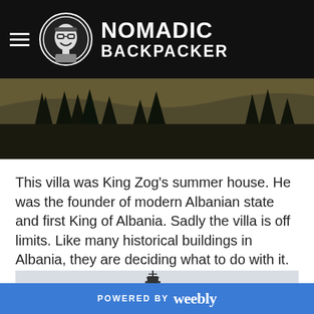NOMADIC BACKPACKER
[Figure (photo): Outdoor scene with tall pine trees against a rocky hillside or cliff face, dark tones]
This villa was King Zog's summer house. He was the founder of modern Albanian state and first King of Albania. Sadly the villa is off limits. Like many historical buildings in Albania, they are deciding what to do with it.
And nearby, the lighthouse, also closed off:
[Figure (photo): Partial view of a lighthouse structure against a light grey sky]
POWERED BY weebly